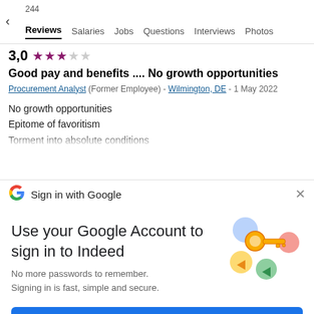244 Reviews   Salaries   Jobs   Questions   Interviews   Photos
3,0 ★★★☆☆
Good pay and benefits .... No growth opportunities
Procurement Analyst (Former Employee) - Wilmington, DE - 1 May 2022
No growth opportunities
Epitome of favoritism
[clipped line]
[Figure (screenshot): Google Sign in with Google bar with G logo and X close button]
Use your Google Account to sign in to Indeed
No more passwords to remember.
Signing in is fast, simple and secure.
[Figure (illustration): Colorful illustration of a key with circular bubbles (blue, yellow, green, red/pink)]
Continue